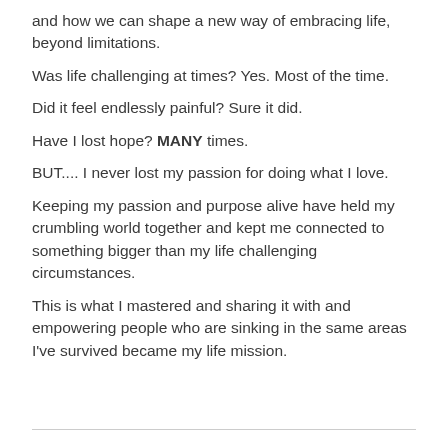and how we can shape a new way of embracing life, beyond limitations.
Was life challenging at times? Yes. Most of the time.
Did it feel endlessly painful? Sure it did.
Have I lost hope? MANY times.
BUT.... I never lost my passion for doing what I love.
Keeping my passion and purpose alive have held my crumbling world together and kept me connected to something bigger than my life challenging circumstances.
This is what I mastered and sharing it with and empowering people who are sinking in the same areas I've survived became my life mission.